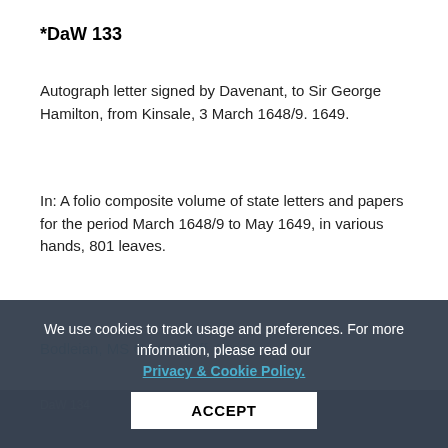*DaW 133
Autograph letter signed by Davenant, to Sir George Hamilton, from Kinsale, 3 March 1648/9. 1649.
In: A folio composite volume of state letters and papers for the period March 1648/9 to May 1649, in various hands, 801 leaves.
Bodleian, MS Carte 24, ff. 21r-2r.
DaW 134
We use cookies to track usage and preferences. For more information, please read our Privacy & Cookie Policy.